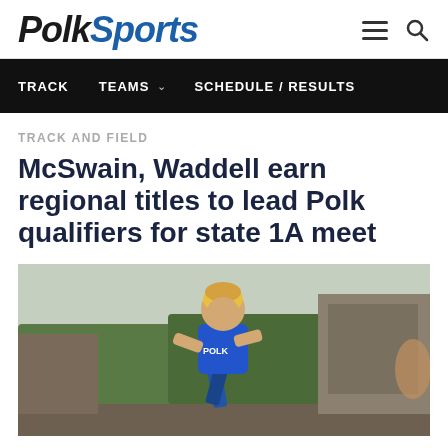PolkSports
TRACK   TEAMS   SCHEDULE / RESULTS
TRACK AND FIELD
McSwain, Waddell earn regional titles to lead Polk qualifiers for state 1A meet
[Figure (photo): Athlete in blue Polk jersey running on a track, outdoor setting with greenery and building in background]